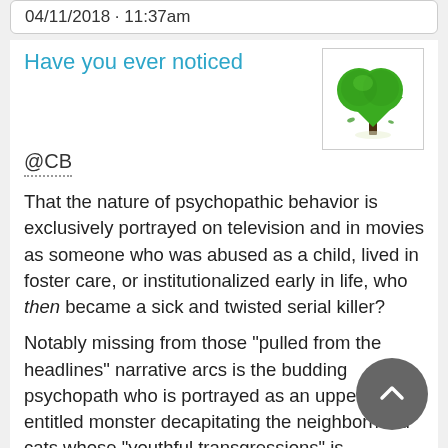04/11/2018 · 11:37am
Have you ever noticed
[Figure (illustration): A green heart-shaped tree with a black trunk and small birds/butterflies near the base on a white background.]
@CB
That the nature of psychopathic behavior is exclusively portrayed on television and in movies as someone who was abused as a child, lived in foster care, or institutionalized early in life, who then became a sick and twisted serial killer?
Notably missing from those "pulled from the headlines" narrative arcs is the budding psychopath who is portrayed as an upper class entitled monster decapitating the neighborhood cats whose "youthful transgressions" is protected by their families wealth, who grows up in Ivy League Schools...